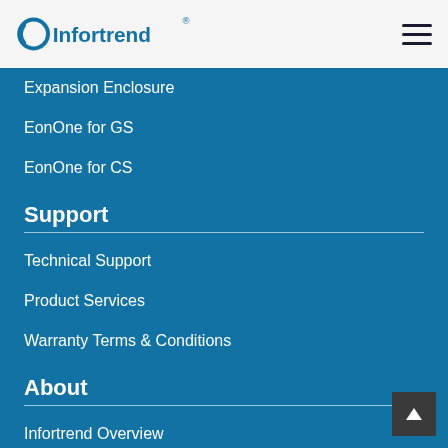Infortrend
Expansion Enclosure
EonOne for GS
EonOne for CS
Support
Technical Support
Product Services
Warranty Terms & Conditions
About
Infortrend Overview
Worldwide Offices
Press Releases
Success Stories
Where to Buy